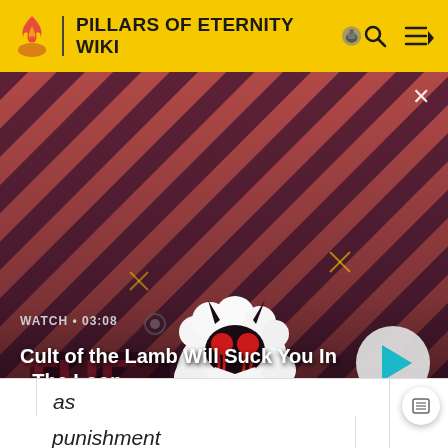PILLARS OF ETERNITY WIKI
[Figure (screenshot): Video thumbnail showing a cartoon lamb character with demonic horns and red eyes wearing a red cape, set against a diagonal red and dark purple striped background. Text overlay shows 'WATCH • 03:08' and title 'Cult of the Lamb Will Suck You In - The Loop' with a teal play button on the right. An X close button is in the upper right corner.]
as
punishment
for Castol's
losses at
Ondra's